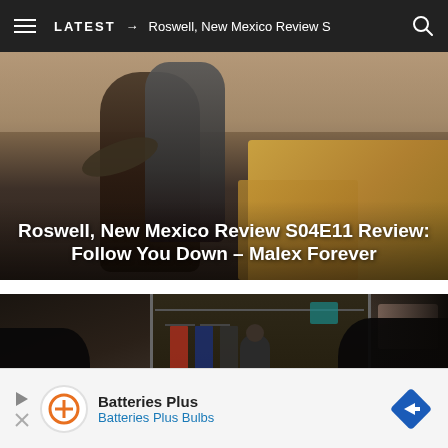LATEST → Roswell, New Mexico Review S
[Figure (photo): Two people hugging outdoors near hay bales in a desert/rural setting. Photo used as article thumbnail.]
Roswell, New Mexico Review S04E11 Review: Follow You Down – Malex Forever
[Figure (photo): A darkly lit interior room scene — appears to be a children's bedroom or closet area with a figure standing in the background. Photo used as article thumbnail.]
Evil S02E10 Review: The Demon of the End
Batteries Plus
Batteries Plus Bulbs